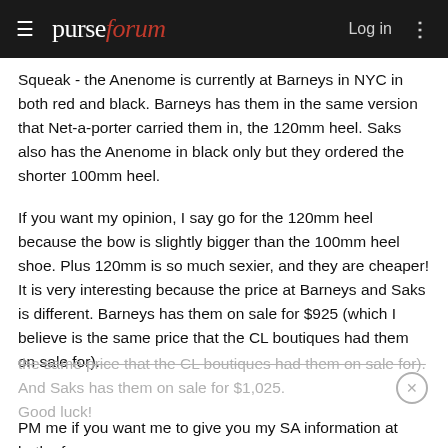purseforum  Log in
Squeak - the Anenome is currently at Barneys in NYC in both red and black. Barneys has them in the same version that Net-a-porter carried them in, the 120mm heel. Saks also has the Anenome in black only but they ordered the shorter 100mm heel.
If you want my opinion, I say go for the 120mm heel because the bow is slightly bigger than the 100mm heel shoe. Plus 120mm is so much sexier, and they are cheaper! It is very interesting because the price at Barneys and Saks is different. Barneys has them on sale for $925 (which I believe is the same price that the CL boutiques had them on sale for). And Saks has them on sale for $1,025. Good luck!
PM me if you want me to give you my SA information at both of